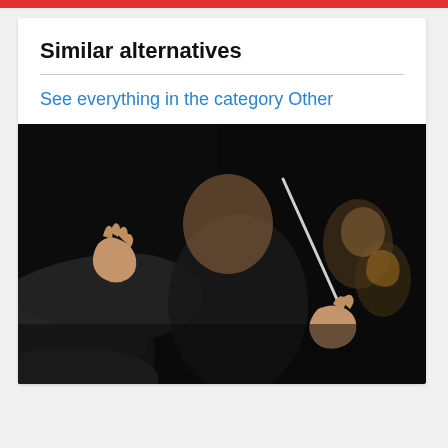Similar alternatives
See everything in the category Other
[Figure (photo): Orchestra conductor holding a baton with hands raised, musicians with instruments visible in background, dark background, blurred focus on conductor's face]